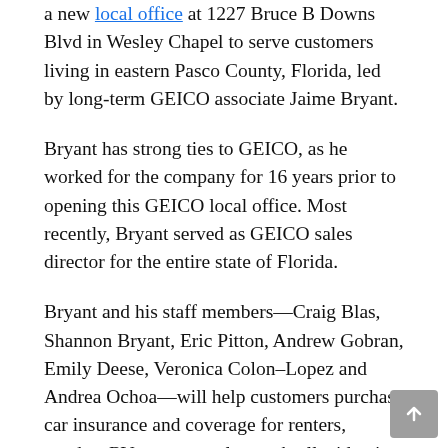a new local office at 1227 Bruce B Downs Blvd in Wesley Chapel to serve customers living in eastern Pasco County, Florida, led by long-term GEICO associate Jaime Bryant.
Bryant has strong ties to GEICO, as he worked for the company for 16 years prior to opening this GEICO local office. Most recently, Bryant served as GEICO sales director for the entire state of Florida.
Bryant and his staff members—Craig Blas, Shannon Bryant, Eric Pitton, Andrew Gobran, Emily Deese, Veronica Colon–Lopez and Andrea Ochoa—will help customers purchase car insurance and coverage for renters, condos, RVs, motorcycles, umbrella, identity protection, jewelry, commercial auto insurance and more.
For those who enjoy spending time on the Gulf of Mexico or one of central Florida's many lakes, the Wesley Chapel local office team can also help with insurance for boats of all sizes